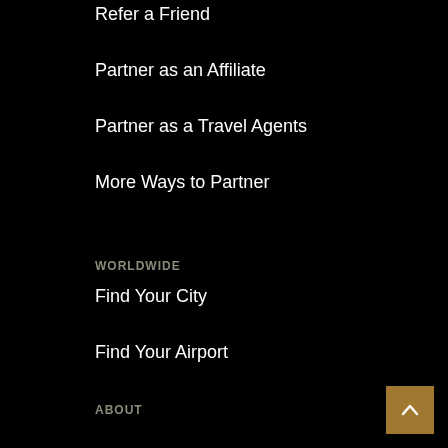Refer a Friend
Partner as an Affiliate
Partner as a Travel Agents
More Ways to Partner
WORLDWIDE
Find Your City
Find Your Airport
ABOUT
Company
Careers
Blog